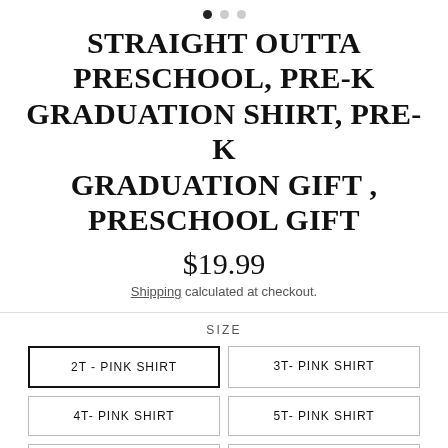STRAIGHT OUTTA PRESCHOOL, PRE-K GRADUATION SHIRT, PRE-K GRADUATION GIFT , PRESCHOOL GIFT
$19.99
Shipping calculated at checkout.
SIZE
2T - PINK SHIRT
3T- PINK SHIRT
4T- PINK SHIRT
5T- PINK SHIRT
2T- PURPLE SHIRT
3T- PURPLE SHIRT